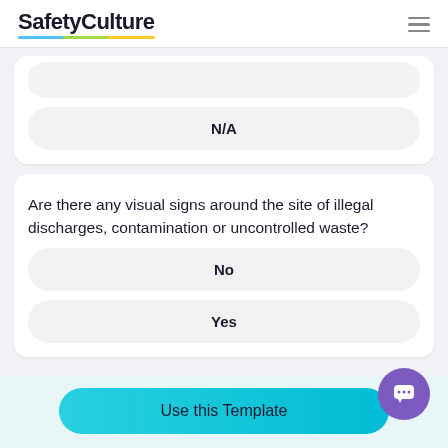SafetyCulture
N/A
Are there any visual signs around the site of illegal discharges, contamination or uncontrolled waste?
No
Yes
Use this Template